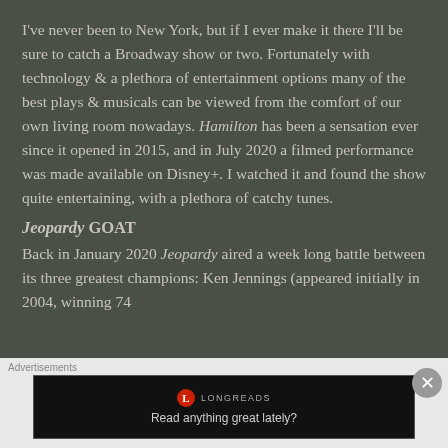I've never been to New York, but if I ever make it there I'll be sure to catch a Broadway show or two. Fortunately with technology & a plethora of entertainment options many of the best plays & musicals can be viewed from the comfort of our own living room nowadays. Hamilton has been a sensation ever since it opened in 2015, and in July 2020 a filmed performance was made available on Disney+. I watched it and found the show quite entertaining, with a plethora of catchy tunes.
Jeopardy GOAT
Back in January 2020 Jeopardy aired a week long battle between its three greatest champions: Ken Jennings (appeared initially in 2004, winning 74
[Figure (other): Advertisement banner for Longreads with text 'Read anything great lately?' on a black background with Longreads logo]